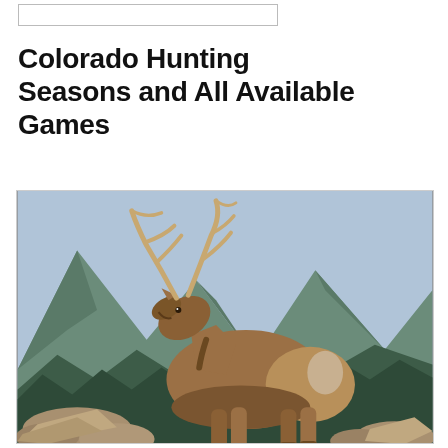[Figure (other): Search bar / input box at top of page]
Colorado Hunting Seasons and All Available Games
[Figure (photo): A bull elk with large antlers bugling, standing on rocks with a mountainous forested background in Colorado.]